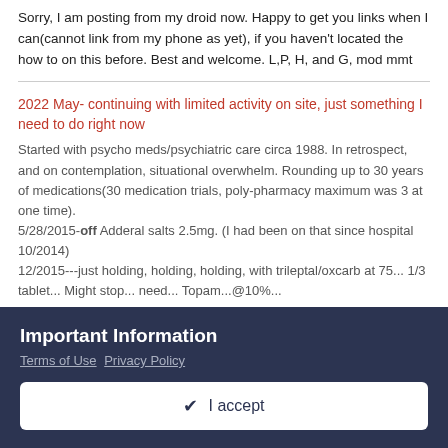Sorry, I am posting from my droid now. Happy to get you links when I can(cannot link from my phone as yet), if you haven't located the how to on this before. Best and welcome. L,P, H, and G, mod mmt
2022 May- continuing with limited activity on site, just something I need to do right now
Started with psycho meds/psychiatric care circa 1988. In retrospect, and on contemplation, situational overwhelm. Rounding up to 30 years of medications(30 medication trials, poly-pharmacy maximum was 3 at one time). 5/28/2015-off Adderal salts 2.5mg. (I had been on that since hospital 10/2014) 12/2015---just holding, holding, holding, with trileptal/oxcarb at 75...
Important Information
Terms of Use Privacy Policy
✓ I accept